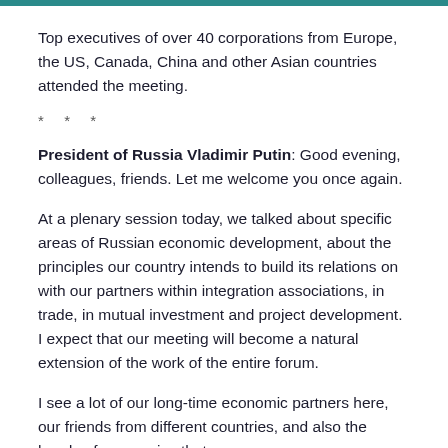Top executives of over 40 corporations from Europe, the US, Canada, China and other Asian countries attended the meeting.
* * *
President of Russia Vladimir Putin: Good evening, colleagues, friends. Let me welcome you once again.
At a plenary session today, we talked about specific areas of Russian economic development, about the principles our country intends to build its relations on with our partners within integration associations, in trade, in mutual investment and project development. I expect that our meeting will become a natural extension of the work of the entire forum.
I see a lot of our long-time economic partners here, our friends from different countries, and also the heads of companies that